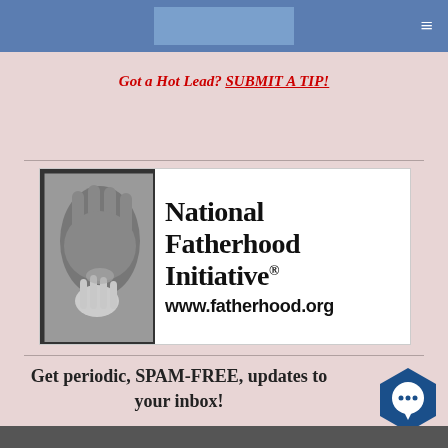[Figure (screenshot): Blue navigation header bar with a lighter blue logo placeholder in the center and a hamburger menu icon on the right]
Got a Hot Lead?  SUBMIT A TIP!
[Figure (logo): National Fatherhood Initiative logo with hands image on left and text 'National Fatherhood Initiative® www.fatherhood.org' on right]
Get periodic, SPAM-FREE, updates to your inbox!